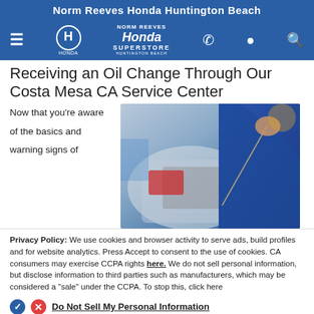Norm Reeves Honda Huntington Beach
[Figure (logo): Norm Reeves Honda Superstore navigation bar with hamburger menu, Honda logo, Norm Reeves Honda Superstore center logo, phone, location, and search icons on blue background]
Receiving an Oil Change Through Our Costa Mesa CA Service Center
Now that you're aware of the basics and warning signs of
[Figure (photo): Mechanic in blue uniform checking or pouring oil in a car engine bay, pulling a dipstick]
Privacy Policy: We use cookies and browser activity to serve ads, build profiles and for website analytics. Press Accept to consent to the use of cookies. CA consumers may exercise CCPA rights here. We do not sell personal information, but disclose information to third parties such as manufacturers, which may be considered a "sale" under the CCPA. To stop this, click here
Do Not Sell My Personal Information
Language: English
Powered by ComplyAuto
Accept and Continue → California Privacy Disclosures